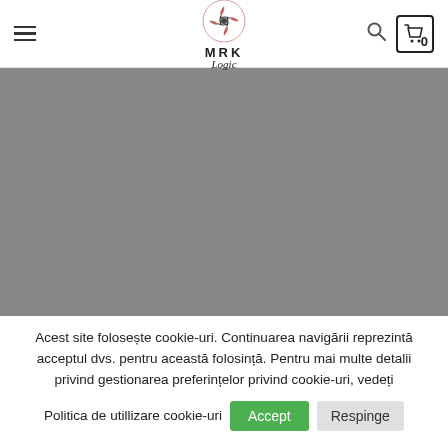MRK Logic — navigation header with hamburger menu, logo, search and cart
[Figure (photo): Gray placeholder hero image banner]
Acest site folosește cookie-uri. Continuarea navigării reprezintă acceptul dvs. pentru această folosință. Pentru mai multe detalii privind gestionarea preferințelor privind cookie-uri, vedeți
Politica de utillizare cookie-uri  Accept  Respinge  Politica utillizare cookie-uri